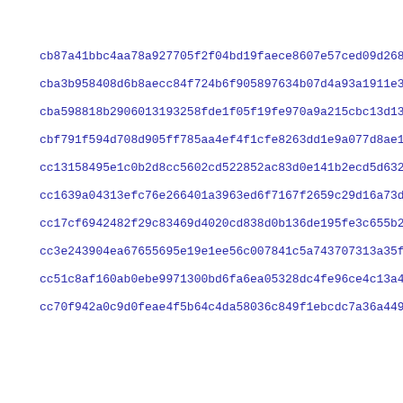cb87a41bbc4aa78a927705f2f04bd19faece8607e57ced09d268f30044553
cba3b958408d6b8aecc84f724b6f905897634b07d4a93a1911e377f397b55
cba598818b2906013193258fde1f05f19fe970a9a215cbc13d139f1c92974
cbf791f594d708d905ff785aa4ef4f1cfe8263dd1e9a077d8ae176785996a
cc13158495e1c0b2d8cc5602cd522852ac83d0e141b2ecd5d632e449b47e2
cc1639a04313efc76e266401a3963ed6f7167f2659c29d16a73dc88dc0089
cc17cf6942482f29c83469d4020cd838d0b136de195fe3c655b2047015d68
cc3e243904ea67655695e19e1ee56c007841c5a743707313a35f719e2b6ab
cc51c8af160ab0ebe9971300bd6fa6ea05328dc4fe96ce4c13a464c333589
cc70f942a0c9d0feae4f5b64c4da58036c849f1ebcdc7a36a449a3c7aafe5